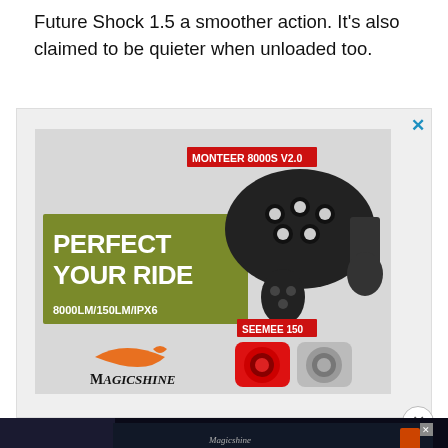Future Shock 1.5 a smoother action. It's also claimed to be quieter when unloaded too.
[Figure (photo): Magicshine advertisement showing MONTEER 8000S V2.0 bicycle headlight and SEEMEE 150 tail lights. Text reads 'PERFECT YOUR RIDE 8000LM/150LM/IPX6' on an olive green banner. Magicshine logo at bottom left. Close X button top right.]
[Figure (photo): Second Magicshine advertisement showing 'Ride More. Enjoy More' with red tail light and bicycle handlebar image. Close X button visible.]